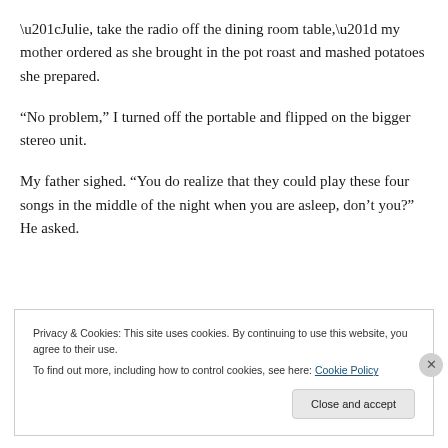“Julie, take the radio off the dining room table,” my mother ordered as she brought in the pot roast and mashed potatoes she prepared.
“No problem,” I turned off the portable and flipped on the bigger stereo unit.
My father sighed. “You do realize that they could play these four songs in the middle of the night when you are asleep, don’t you?” He asked.
Privacy & Cookies: This site uses cookies. By continuing to use this website, you agree to their use.
To find out more, including how to control cookies, see here: Cookie Policy
Close and accept